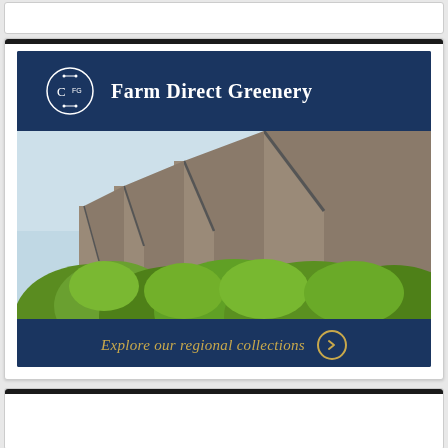[Figure (advertisement): Farm Direct Greenery advertisement banner with dark navy blue background, company logo (CFG circle monogram), brand name 'Farm Direct Greenery', photo of greenhouse rooftops with green trees/shrubs, and footer text 'Explore our regional collections' with arrow circle button in gold/tan color.]